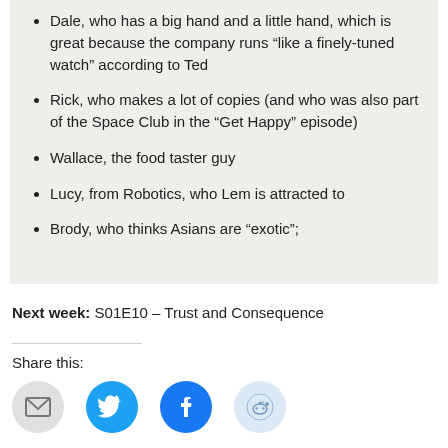Dale, who has a big hand and a little hand, which is great because the company runs “like a finely-tuned watch” according to Ted
Rick, who makes a lot of copies (and who was also part of the Space Club in the “Get Happy” episode)
Wallace, the food taster guy
Lucy, from Robotics, who Lem is attracted to
Brody, who thinks Asians are “exotic”;
Next week: S01E10 – Trust and Consequence
Share this:
[Figure (infographic): Row of four social share icon buttons: email (grey circle), Twitter (cyan circle with bird icon), Facebook (blue circle with f icon), Reddit (light blue circle with alien icon)]
Tags: Better Off Ted, LWST